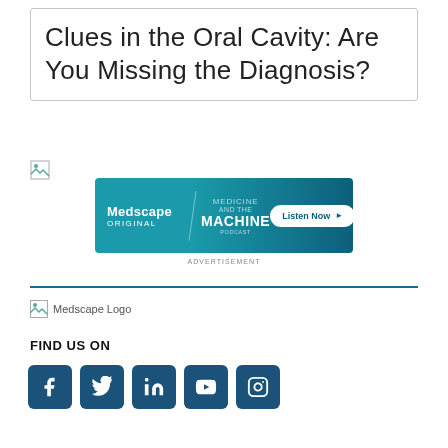Clues in the Oral Cavity: Are You Missing the Diagnosis?
[Figure (illustration): Broken image placeholder icon (small, top-left area)]
[Figure (infographic): Medscape Original - Medicine and the Machine podcast advertisement banner with 'Listen Now' button]
ADVERTISEMENT
[Figure (logo): Medscape Logo (broken image placeholder with alt text 'Medscape Logo')]
FIND US ON
[Figure (infographic): Social media icons row: Facebook, Twitter, LinkedIn, YouTube, Instagram — all in dark teal rounded square buttons]